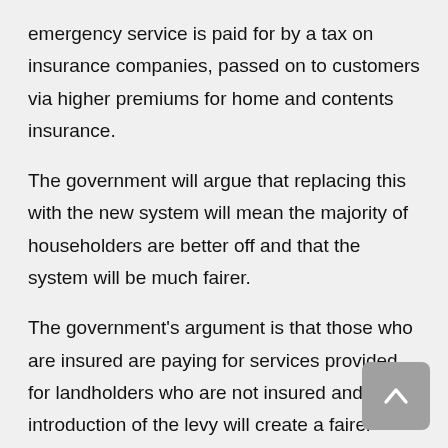emergency service is paid for by a tax on insurance companies, passed on to customers via higher premiums for home and contents insurance.
The government will argue that replacing this with the new system will mean the majority of householders are better off and that the system will be much fairer.
The government's argument is that those who are insured are paying for services provided for landholders who are not insured and the introduction of the levy will create a fairer system.
They say NSW is the most non-insured state in the country and hope the change will encourage more people to have their property insured, as premiums will come down.